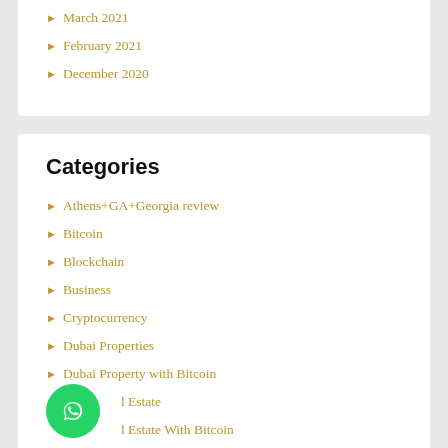March 2021
February 2021
December 2020
Categories
Athens+GA+Georgia review
Bitcoin
Blockchain
Business
Cryptocurrency
Dubai Properties
Dubai Property with Bitcoin
Real Estate
Real Estate With Bitcoin
Real Estate With Crypto
Uncategorized